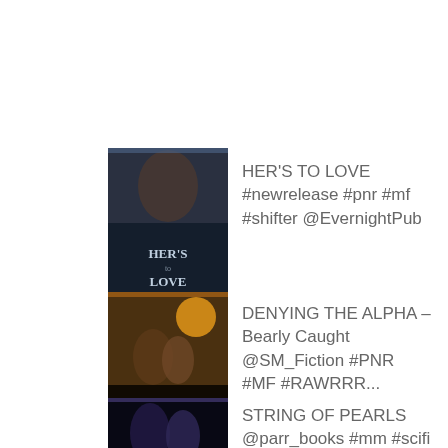[Figure (photo): Book cover for HER'S TO LOVE by Maia Dylan – dark romantic paranormal romance cover with couple]
HER'S TO LOVE #newrelease #pnr #mf #shifter @EvernightPub
[Figure (photo): Book cover for DENYING THE ALPHA – Bearly Caught – dark fantasy romance cover with couple and moon]
DENYING THE ALPHA – Bearly Caught @SM_Fiction #PNR #MF #RAWRRR...
[Figure (photo): Book cover for STRING OF PEARLS – dark sci-fi romance cover]
STRING OF PEARLS @parr_books #mm #scifi @EvernightPub